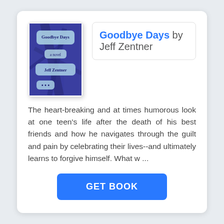[Figure (illustration): Book cover of 'Goodbye Days' by Jeff Zentner — dark blue/purple background with handwritten-style text and chat bubble graphics]
Goodbye Days by Jeff Zentner
The heart-breaking and at times humorous look at one teen's life after the death of his best friends and how he navigates through the guilt and pain by celebrating their lives--and ultimately learns to forgive himself. What w ...
GET BOOK